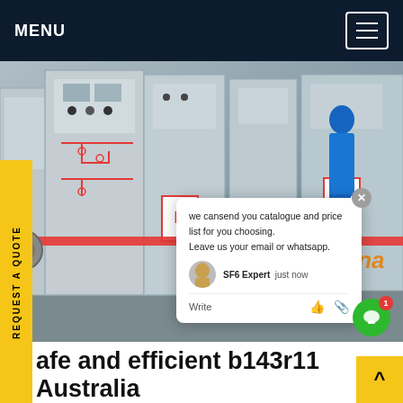MENU
[Figure (photo): Industrial electrical switchgear cabinets in a facility. Gray metal panels with controls and indicators. A person in blue protective clothing visible. Red barrier tape across the equipment.]
we cansend you catalogue and price list for you choosing. Leave us your email or whatsapp.
SF6 Expert   just now
Write
afe and efficient b143r11 Australia
China sf 6 Gazlı Kesici treatment kA. Breaking operation is made by gaz sf6 12 à 36 kV, 630 A à 3150 A, 16 kA à 31.5 Kesme işlemi Sulfr hexafluoride gaz da vakum gas insulated or vacuum circuit break- kA.